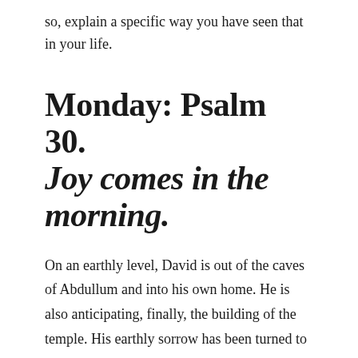so, explain a specific way you have seen that in your life.
Monday: Psalm 30. Joy comes in the morning.
On an earthly level, David is out of the caves of Abdullum and into his own home. He is also anticipating, finally, the building of the temple. His earthly sorrow has been turned to joy. But it is also important to see that David and the temple are types pointing to Christ.